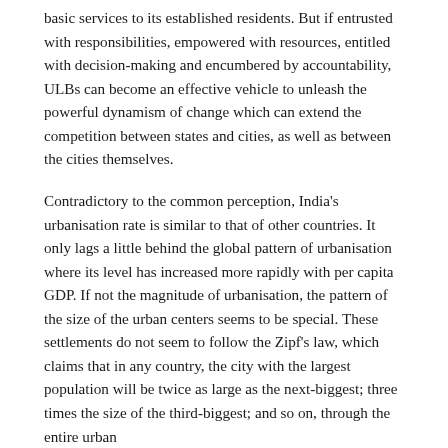basic services to its established residents. But if entrusted with responsibilities, empowered with resources, entitled with decision-making and encumbered by accountability, ULBs can become an effective vehicle to unleash the powerful dynamism of change which can extend the competition between states and cities, as well as between the cities themselves.
Contradictory to the common perception, India's urbanisation rate is similar to that of other countries. It only lags a little behind the global pattern of urbanisation where its level has increased more rapidly with per capita GDP. If not the magnitude of urbanisation, the pattern of the size of the urban centers seems to be special. These settlements do not seem to follow the Zipf's law, which claims that in any country, the city with the largest population will be twice as large as the next-biggest; three times the size of the third-biggest; and so on, through the entire urban hierarchy.